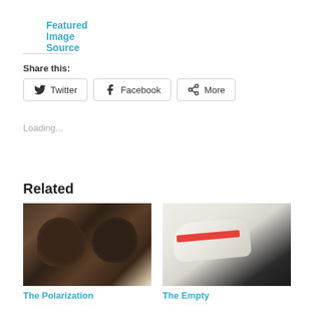Featured Image Source
Share this:
Twitter  Facebook  More
Loading...
Related
[Figure (photo): Two bison facing each other head-to-head, dark furry animals close up]
The Polarization
[Figure (photo): White Gucci sneakers with red stripe detail displayed on dark surface]
The Empty